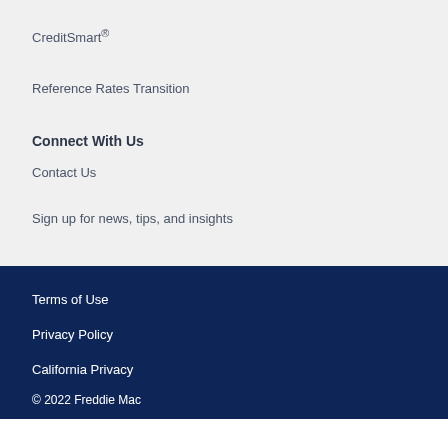CreditSmart®
Reference Rates Transition
Connect With Us
Contact Us
Sign up for news, tips, and insights
Terms of Use
Privacy Policy
California Privacy
© 2022 Freddie Mac